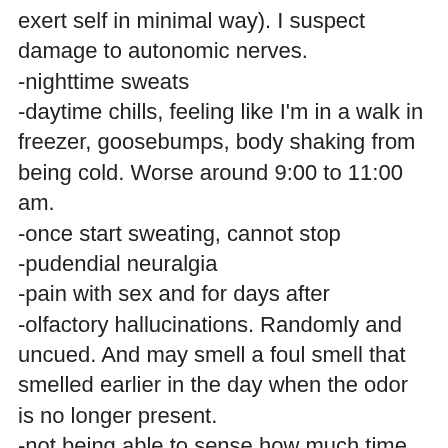exert self in minimal way). I suspect damage to autonomic nerves.
-nighttime sweats
-daytime chills, feeling like I'm in a walk in freezer, goosebumps, body shaking from being cold. Worse around 9:00 to 11:00 am.
-once start sweating, cannot stop
-pudendial neuralgia
-pain with sex and for days after
-olfactory hallucinations. Randomly and uncued. And may smell a foul smell that smelled earlier in the day when the odor is no longer present.
-not being able to sense how much time as gone by
-burning and pain in feet, hands, right side of face, around lips, particularly the right side. Also right eye.
-don't know if drug-induced or not: brittle nails